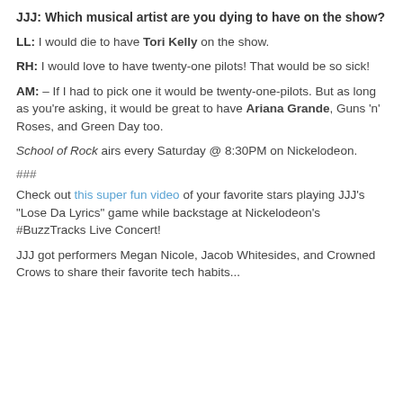JJJ: Which musical artist are you dying to have on the show?
LL: I would die to have Tori Kelly on the show.
RH: I would love to have twenty-one pilots! That would be so sick!
AM: – If I had to pick one it would be twenty-one-pilots. But as long as you're asking, it would be great to have Ariana Grande, Guns 'n' Roses, and Green Day too.
School of Rock airs every Saturday @ 8:30PM on Nickelodeon.
###
Check out this super fun video of your favorite stars playing JJJ's "Lose Da Lyrics" game while backstage at Nickelodeon's #BuzzTracks Live Concert!
JJJ got performers Megan Nicole, Jacob Whitesides, and Crowned Crows to share their favorite tech habits...